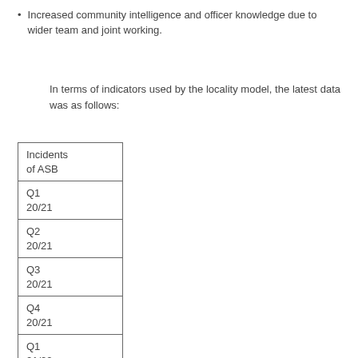Increased community intelligence and officer knowledge due to wider team and joint working.
In terms of indicators used by the locality model, the latest data was as follows:
| Incidents of ASB |
| --- |
| Q1 20/21 |
| Q2 20/21 |
| Q3 20/21 |
| Q4 20/21 |
| Q1 21/22 |
| Q2 21/22 |
| Q3 |